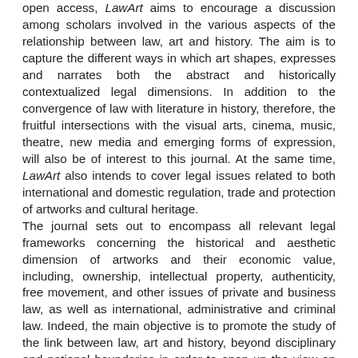open access, LawArt aims to encourage a discussion among scholars involved in the various aspects of the relationship between law, art and history. The aim is to capture the different ways in which art shapes, expresses and narrates both the abstract and historically contextualized legal dimensions. In addition to the convergence of law with literature in history, therefore, the fruitful intersections with the visual arts, cinema, music, theatre, new media and emerging forms of expression, will also be of interest to this journal. At the same time, LawArt also intends to cover legal issues related to both international and domestic regulation, trade and protection of artworks and cultural heritage. The journal sets out to encompass all relevant legal frameworks concerning the historical and aesthetic dimension of artworks and their economic value, including, ownership, intellectual property, authenticity, free movement, and other issues of private and business law, as well as international, administrative and criminal law. Indeed, the main objective is to promote the study of the link between law, art and history, beyond disciplinary and national boundaries in order to open up the view on this topic. The annual issue of LawArt will be divided into three sections. The first, Overture, is conceived as a miscellaneous sectio